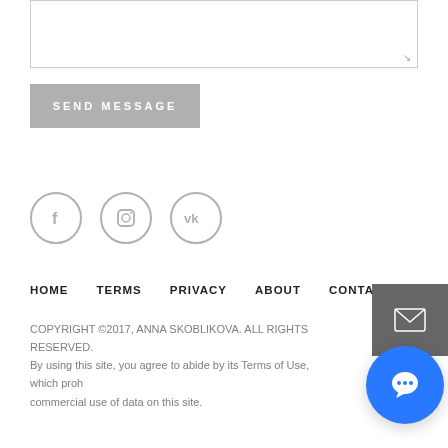[Figure (screenshot): Empty textarea input box with resize handle in bottom right corner]
SEND MESSAGE
[Figure (other): Social media icons: Facebook (f), Instagram (camera), VK (vk) — three grey circle icons]
HOME   TERMS   PRIVACY   ABOUT   CONTACT
COPYRIGHT ©2017, ANNA SKOBLIKOVA. ALL RIGHTS RESERVED. By using this site, you agree to abide by its Terms of Use, which proh commercial use of data on this site.
[Figure (other): Dark grey square email button with white envelope icon]
[Figure (other): Blue circular chat button with white speech bubble icon]